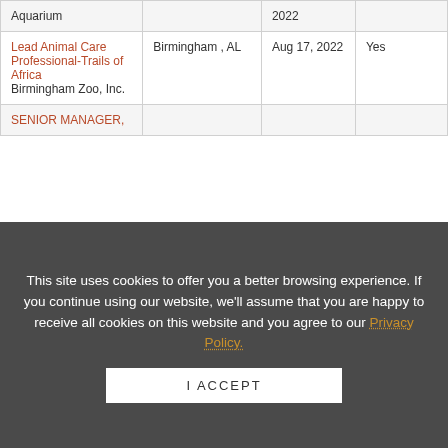| Job Title / Organization | Location | Date Posted | Membership Required |
| --- | --- | --- | --- |
| Aquarium |  | 2022 |  |
| Lead Animal Care Professional-Trails of Africa
Birmingham Zoo, Inc. | Birmingham , AL | Aug 17, 2022 | Yes |
| SENIOR MANAGER, |  |  |  |
This site uses cookies to offer you a better browsing experience. If you continue using our website, we'll assume that you are happy to receive all cookies on this website and you agree to our Privacy Policy.
I ACCEPT